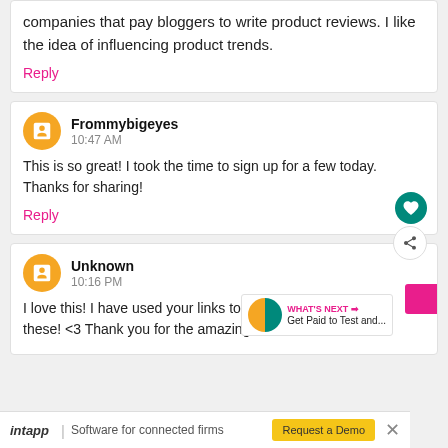companies that pay bloggers to write product reviews. I like the idea of influencing product trends.
Reply
Frommybigeyes
10:47 AM
This is so great! I took the time to sign up for a few today. Thanks for sharing!
Reply
Unknown
10:16 PM
I love this! I have used your links to apply for some of these! <3 Thank you for the amazing list.
intapp | Software for connected firms   Request a Demo